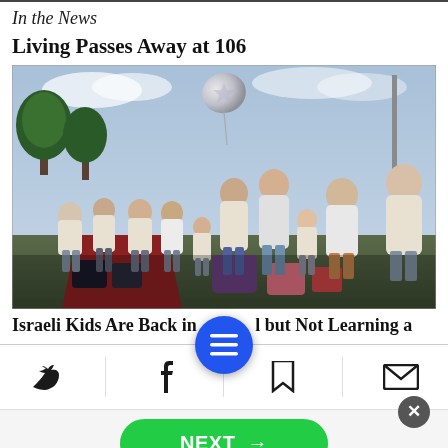In the News
Living Passes Away at 106
[Figure (photo): A group of children in white t-shirts standing in a line on a red carpet, with a silver star-shaped balloon in the background, outdoors with trees and a cloudy sky.]
Israeli Kids Are Back in [school] but Not Learning a
NEXT →
on Newz Online